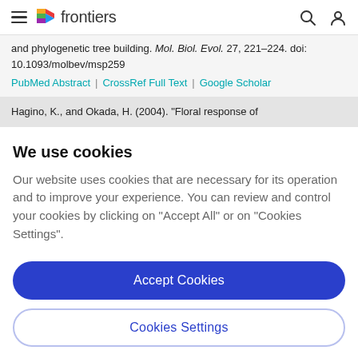frontiers
and phylogenetic tree building. Mol. Biol. Evol. 27, 221–224. doi: 10.1093/molbev/msp259
PubMed Abstract | CrossRef Full Text | Google Scholar
Hagino, K., and Okada, H. (2004). "Floral response of
We use cookies
Our website uses cookies that are necessary for its operation and to improve your experience. You can review and control your cookies by clicking on "Accept All" or on "Cookies Settings".
Accept Cookies
Cookies Settings